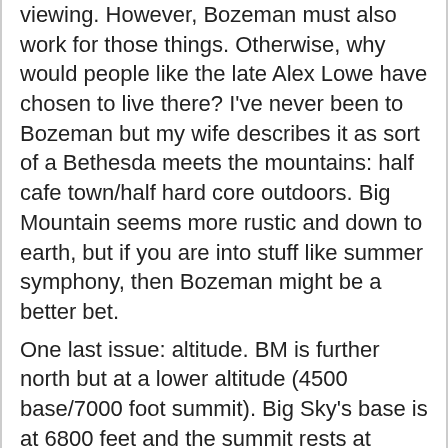viewing. However, Bozeman must also work for those things. Otherwise, why would people like the late Alex Lowe have chosen to live there? I've never been to Bozeman but my wife describes it as sort of a Bethesda meets the mountains: half cafe town/half hard core outdoors. Big Mountain seems more rustic and down to earth, but if you are into stuff like summer symphony, then Bozeman might be a better bet.
One last issue: altitude. BM is further north but at a lower altitude (4500 base/7000 foot summit). Big Sky's base is at 6800 feet and the summit rests at 11,500 feet. If you are sensitive to high altitude, BM might be more pleasant.
[This message has been edited by johnfmh (edited 02-20-2003).]